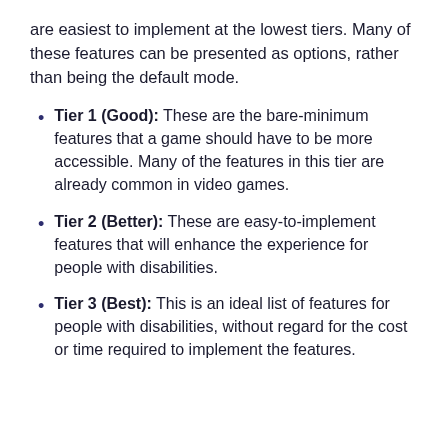are easiest to implement at the lowest tiers. Many of these features can be presented as options, rather than being the default mode.
Tier 1 (Good): These are the bare-minimum features that a game should have to be more accessible. Many of the features in this tier are already common in video games.
Tier 2 (Better): These are easy-to-implement features that will enhance the experience for people with disabilities.
Tier 3 (Best): This is an ideal list of features for people with disabilities, without regard for the cost or time required to implement the features.